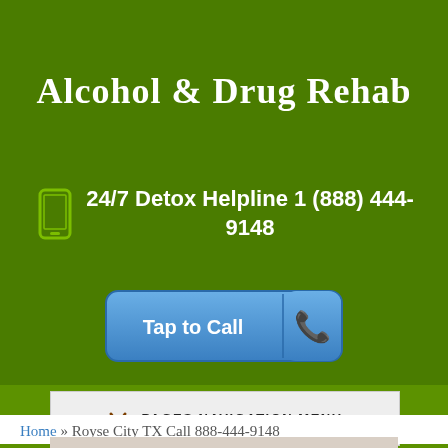Alcohol & Drug Rehab
24/7 Detox Helpline 1 (888) 444-9148
[Figure (screenshot): Blue 'Tap to Call' button with phone icon]
PAGES NAVIGATION MENU
Home » Royse City TX Call 888-444-9148
[Figure (photo): Partial photo of a person at the bottom of the page]